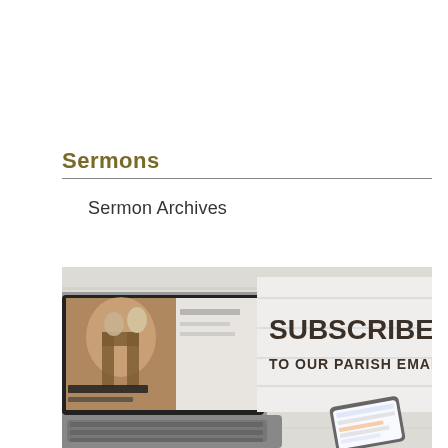Sermons
Sermon Archives
[Figure (photo): A laptop computer showing a church/religious website on its screen, next to a sign reading 'SUBSCRIBE TO OUR PARISH EMAIL LIST', and a smartphone in the lower right corner showing a newsletter or bulletin.]